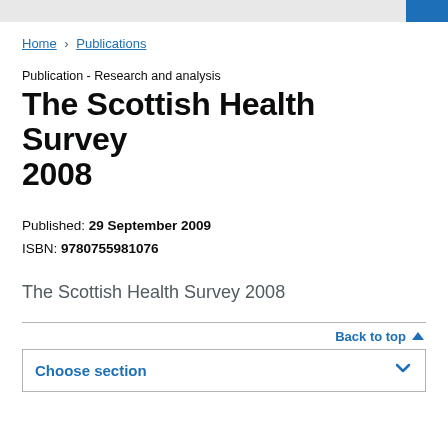Home › Publications
Publication - Research and analysis
The Scottish Health Survey 2008
Published: 29 September 2009
ISBN: 9780755981076
The Scottish Health Survey 2008
Back to top
Choose section